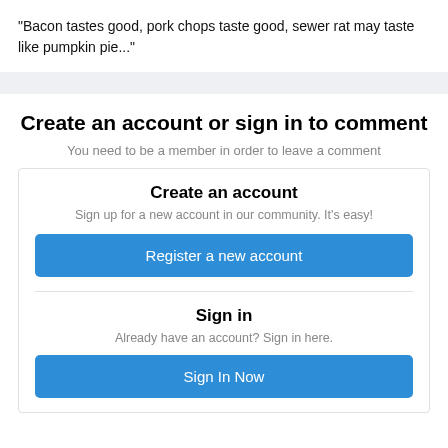"Bacon tastes good, pork chops taste good, sewer rat may taste like pumpkin pie..."
Create an account or sign in to comment
You need to be a member in order to leave a comment
Create an account
Sign up for a new account in our community. It's easy!
Register a new account
Sign in
Already have an account? Sign in here.
Sign In Now